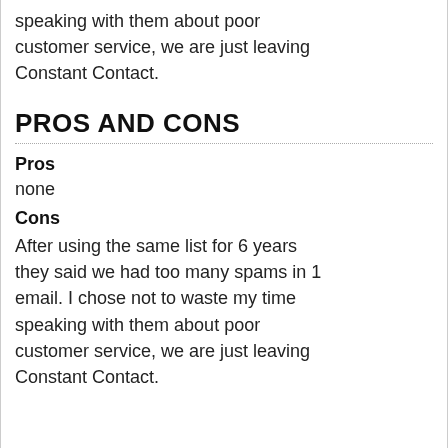speaking with them about poor customer service, we are just leaving Constant Contact.
PROS AND CONS
Pros
none
Cons
After using the same list for 6 years they said we had too many spams in 1 email. I chose not to waste my time speaking with them about poor customer service, we are just leaving Constant Contact.